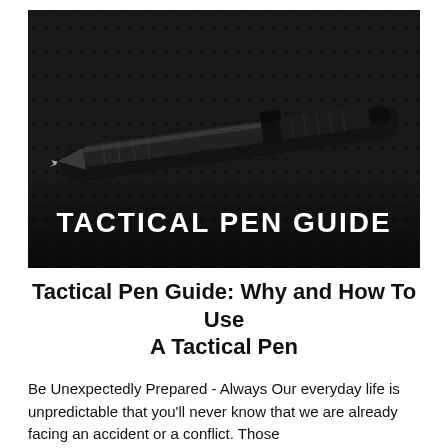[Figure (photo): Black and white photo of a tactical pen lying on dark textured fabric/mesh background, with the text 'TACTICAL PEN GUIDE' overlaid in large white bold uppercase letters at the bottom of the image.]
Tactical Pen Guide: Why and How To Use A Tactical Pen
Be Unexpectedly Prepared - Always Our everyday life is unpredictable that you'll never know that we are already facing an accident or a conflict. Those